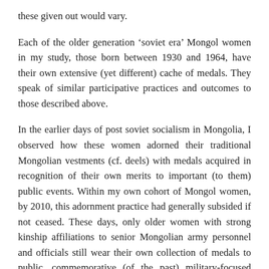these given out would vary.
Each of the older generation ‘soviet era’ Mongol women in my study, those born between 1930 and 1964, have their own extensive (yet different) cache of medals. They speak of similar participative practices and outcomes to those described above.
In the earlier days of post soviet socialism in Mongolia, I observed how these women adorned their traditional Mongolian vestments (cf. deels) with medals acquired in recognition of their own merits to important (to them) public events. Within my own cohort of Mongol women, by 2010, this adornment practice had generally subsided if not ceased. These days, only older women with strong kinship affiliations to senior Mongolian army personnel and officials still wear their own collection of medals to public, commemorative (of the past) military-focused gatherings and displays. I have various photographs in my collection to this effect.